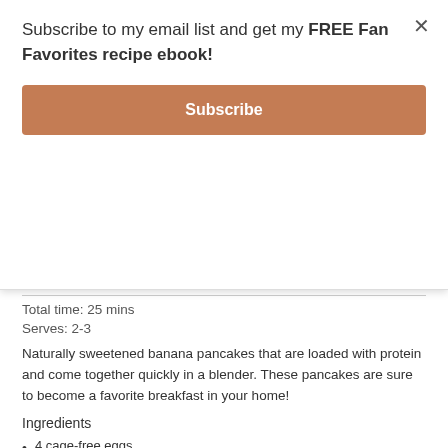Subscribe to my email list and get my FREE Fan Favorites recipe ebook!
Subscribe
Total time: 25 mins
Serves: 2-3
Naturally sweetened banana pancakes that are loaded with protein and come together quickly in a blender. These pancakes are sure to become a favorite breakfast in your home!
Ingredients
4 cage-free eggs
2 bananas
4 Tbsp [url href="https://www.amazon.com/Bobs-Red-Mill-Organic-Coconut/dp/B000KENKZ8?th=1" target="_blank" rel="nofollow"]coconut flour[/url] (sub almond of cashew flour)
1/4 cup plant-based milk (I used [url href="http://malkorganics.com" target="_blank"